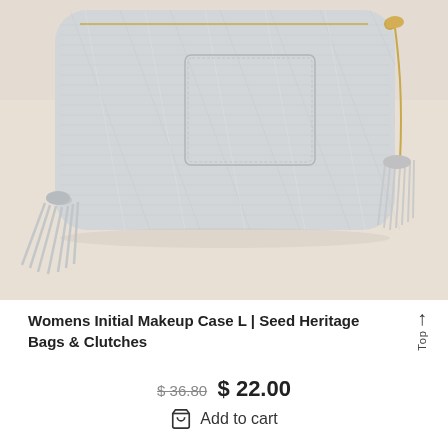[Figure (photo): A light grey textured makeup case/clutch bag with tassels on both sides and a gold zipper, photographed on a warm beige background. The bag has a linen-like crosshatch texture and a front pocket detail.]
Womens Initial Makeup Case L | Seed Heritage Bags & Clutches
$ 36.80  $ 22.00
Add to cart